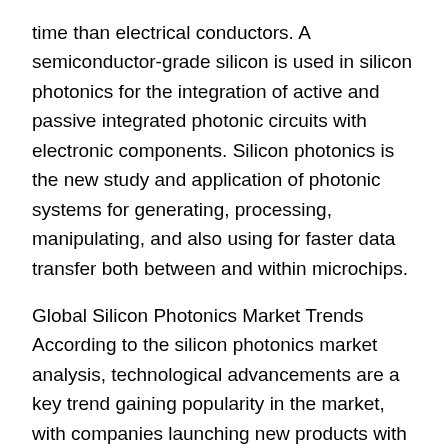time than electrical conductors. A semiconductor-grade silicon is used in silicon photonics for the integration of active and passive integrated photonic circuits with electronic components. Silicon photonics is the new study and application of photonic systems for generating, processing, manipulating, and also using for faster data transfer both between and within microchips.
Global Silicon Photonics Market Trends
According to the silicon photonics market analysis, technological advancements are a key trend gaining popularity in the market, with companies launching new products with advanced technologies such as high power and optical filtering tolerance. For instance, in September 2021, NeoPhotonics Corp, a US-based designer, and manufacturer of silicon photonics have launched a CFP2-DCO module with 0dBm output power for ROADM-based metro, regional and long-haul